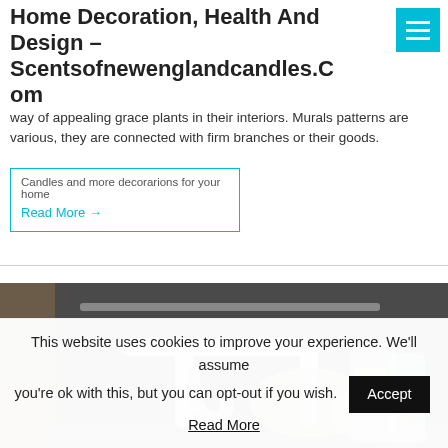Home Decoration, Health And Design – Scentsofnewenglandcandles.Com
way of appealing grace plants in their interiors. Murals patterns are various, they are connected with firm branches or their goods.
Candles and more decorarions for your home
Read More →
[Figure (photo): Photo showing the underside of a sink with plumbing pipes and various household items stored underneath including plastic bags and bottles.]
This website uses cookies to improve your experience. We'll assume you're ok with this, but you can opt-out if you wish. Accept Read More